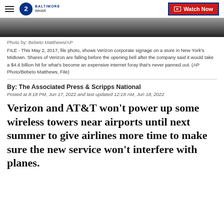WHAR Baltimore 2 | Watch Now
[Figure (photo): Partial photo of Verizon corporate signage, dark background visible at bottom of image strip]
Photo by: Bebeto Matthews/AP
FILE - This May 2, 2017, file photo, shows Verizon corporate signage on a store in New York's Midtown. Shares of Verizon are falling before the opening bell after the company said it would take a $4.6 billion hit for what's become an expensive internet foray that's never panned out. (AP Photo/Bebeto Matthews, File)
By: The Associated Press & Scripps National
Posted at 8:18 PM, Jun 17, 2022 and last updated 12:18 AM, Jun 18, 2022
Verizon and AT&T won't power up some wireless towers near airports until next summer to give airlines more time to make sure the new service won't interfere with planes.